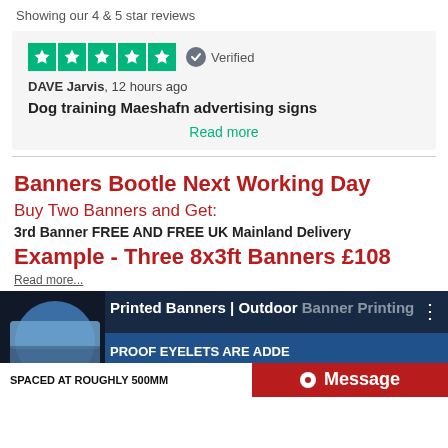Showing our 4 & 5 star reviews
★★★★★ Verified
DAVE Jarvis, 12 hours ago
Dog training Maeshafn advertising signs
Read more
Banners Bootle Next Working Day
Buy Two Banners and Get:
3rd Banner FREE AND FREE UK Mainland Delivery
Example - Three 8x3ft Banners £108
Read more...
[Figure (screenshot): Video thumbnail showing printed banners / outdoor banner printing. Text overlay: 'Printed Banners | Outdoor Banner Printing', 'PROOF EYELETS ARE ADDE', 'SPACED AT ROUGHLY 500MM', and a red 'Message' button.]